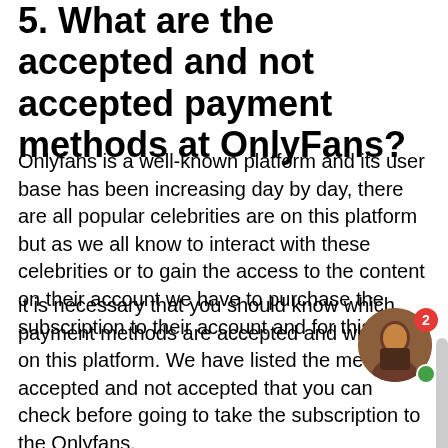5. What are the accepted and not accepted payment methods at OnlyFans?
Onlyfans is a well-known platform and its user base has been increasing day by day, there are all popular celebrities are on this platform but as we all know to interact with these celebrities or to gain the access to the content on their account we have to purchase the subscription to their account and for this,
it is necessary that you should know which payment methods are accepted and which not on this platform. We have listed the methods accepted and not accepted that you can check before going to take the subscription to the Onlyfans.